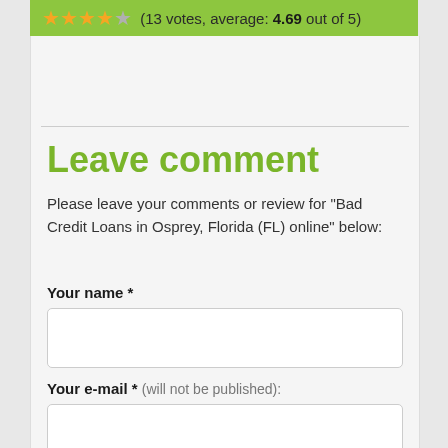★★★★☆ (13 votes, average: 4.69 out of 5)
Leave comment
Please leave your comments or review for "Bad Credit Loans in Osprey, Florida (FL) online" below:
Your name *
Your e-mail * (will not be published):
Your comment *